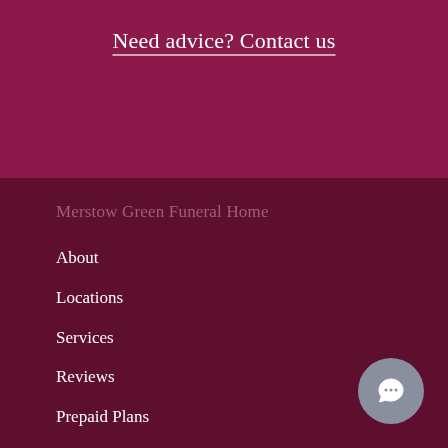Need advice? Contact us
Merstow Green Funeral Home
About
Locations
Services
Reviews
Prepaid Plans
Tributes & Donations
Contact
Our Prices and Packages